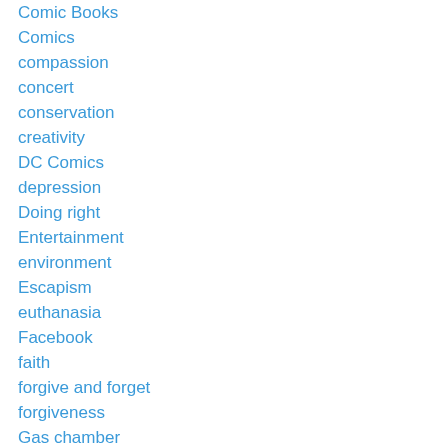Comic Books
Comics
compassion
concert
conservation
creativity
DC Comics
depression
Doing right
Entertainment
environment
Escapism
euthanasia
Facebook
faith
forgive and forget
forgiveness
Gas chamber
Geek